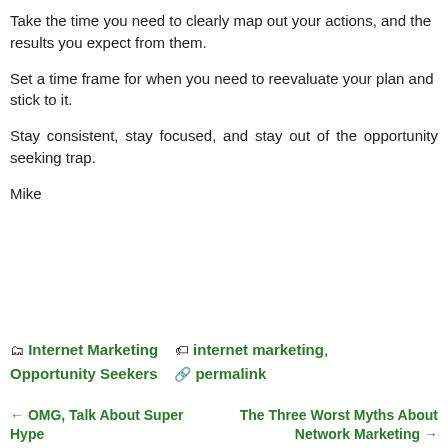Take the time you need to clearly map out your actions, and the results you expect from them.
Set a time frame for when you need to reevaluate your plan and stick to it.
Stay consistent, stay focused, and stay out of the opportunity seeking trap.
Mike
🗂 Internet Marketing  🏷 internet marketing, Opportunity Seekers  🔗 permalink
← OMG, Talk About Super Hype    The Three Worst Myths About Network Marketing →